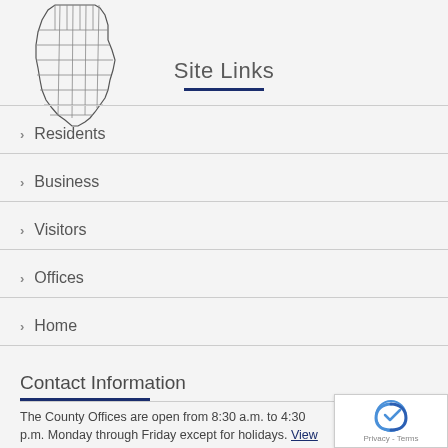[Figure (map): Outline map of Illinois state divided into counties]
Site Links
Residents
Business
Visitors
Offices
Home
Contact Information
The County Offices are open from 8:30 a.m. to 4:30 p.m. Monday through Friday except for holidays. View the calendar to see if the